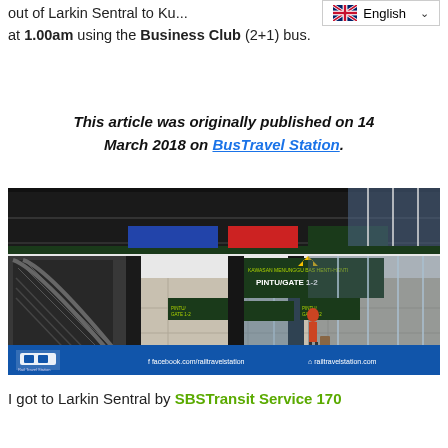out of Larkin Sentral to Ku... at 1.00am using the Business Club (2+1) bus.
This article was originally published on 14 March 2018 on BusTravel Station.
[Figure (photo): Interior of Larkin Sentral bus terminal showing escalator on left, dark pillars, directional signage reading PINTU/GATE 1-2 with arrow, and a lone traveller with luggage. Blue banner at bottom with Rail Travel Station logo, facebook.com/railtravelstation and railtravelstation.com]
I got to Larkin Sentral by SBSTransit Service 170